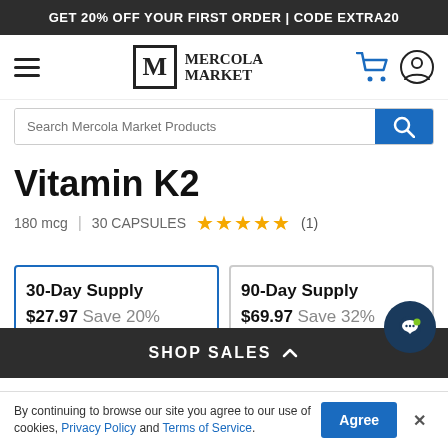GET 20% OFF YOUR FIRST ORDER | CODE EXTRA20
[Figure (logo): Mercola Market logo with M lettermark and cart/account icons]
[Figure (screenshot): Search bar with text 'Search Mercola Market Products' and blue search button]
Vitamin K2
180 mcg | 30 CAPSULES ★★★★★ (1)
| Supply | Price | Savings |
| --- | --- | --- |
| 30-Day Supply | $27.97 | Save 20% |
| 90-Day Supply | $69.97 | Save 32% |
SHOP SALES
By continuing to browse our site you agree to our use of cookies, Privacy Policy and Terms of Service.